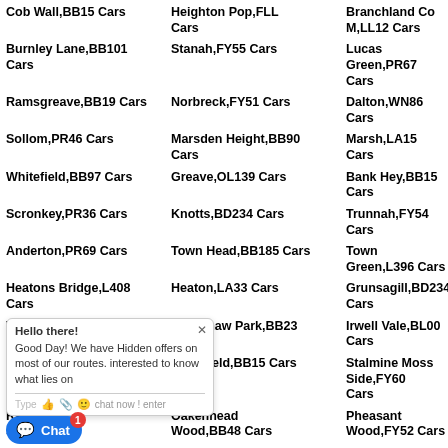Cob Wall,BB15 Cars
Heighton Pop,FLL Cars
Branchland Co M,LL12 Cars
Burnley Lane,BB101 Cars
Stanah,FY55 Cars
Lucas Green,PR67 Cars
Ramsgreave,BB19 Cars
Norbreck,FY51 Cars
Dalton,WN86 Cars
Sollom,PR46 Cars
Marsden Height,BB90 Cars
Marsh,LA15 Cars
Whitefield,BB97 Cars
Greave,OL139 Cars
Bank Hey,BB15 Cars
Scronkey,PR36 Cars
Knotts,BD234 Cars
Trunnah,FY54 Cars
Anderton,PR69 Cars
Town Head,BB185 Cars
Town Green,L396 Cars
Heatons Bridge,L408 Cars
Heaton,LA33 Cars
Grunsagill,BD234 Cars
Wennington,LA28 Cars
Grimshaw Park,BB23 Cars
Irwell Vale,BL00 Cars
Little M... Cars
Daisyfield,BB15 Cars
Stalmine Moss Side,FY60 Cars
Rake H... Cars
Oakenhead Wood,BB48 Cars
Pheasant Wood,FY52 Cars
Low M...
Mereside,FY44 Cars
Snape Green,PR85 Cars
Little S... Cars
Highfurlong,FY37 Cars
Clifton,PR40 Cars
Bank Houses,LA29 Cars
Strongstry,BL09 Cars
Stubbins,PR30 Cars